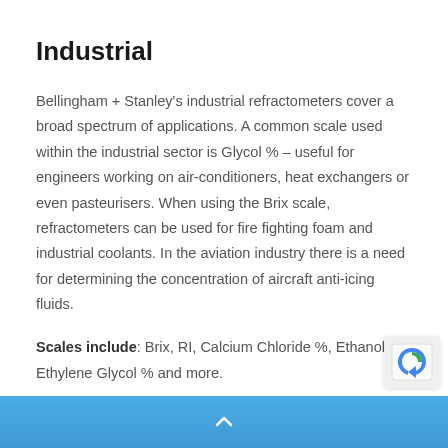Industrial
Bellingham + Stanley's industrial refractometers cover a broad spectrum of applications. A common scale used within the industrial sector is Glycol % – useful for engineers working on air-conditioners, heat exchangers or even pasteurisers. When using the Brix scale, refractometers can be used for fire fighting foam and industrial coolants. In the aviation industry there is a need for determining the concentration of aircraft anti-icing fluids.
Scales include: Brix, RI, Calcium Chloride %, Ethanol %, Ethylene Glycol % and more.
^